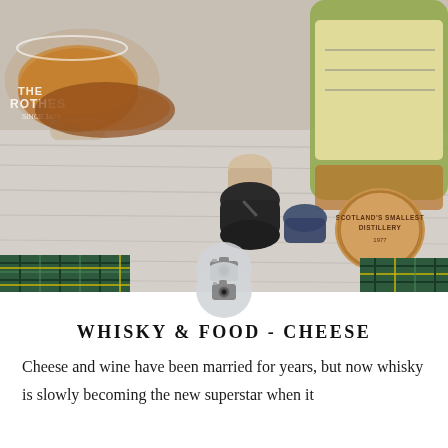[Figure (photo): Close-up photo of whisky-related items on a wooden surface: a Glenrothes whisky glass filled with amber whisky, whisky bottle stoppers (black rubber and a cork stopper), a circular wooden cap stamped 'Scotland's Smallest Distillery', whisky bottles in background, and tartan fabric visible at the bottom.]
WHISKY & FOOD - CHEESE
Cheese and wine have been married for years, but now whisky is slowly becoming the new superstar when it comes to pairing food, specifically cheese.